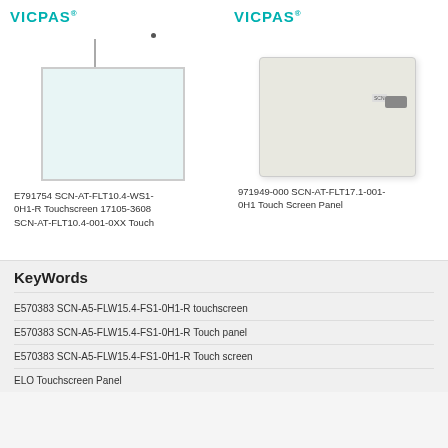[Figure (photo): VICPAS logo (teal) top-left with registered trademark symbol]
[Figure (photo): VICPAS logo (teal) top-right with registered trademark symbol]
[Figure (photo): Touch screen panel with wire/stylus connector, square panel with light blue tint]
[Figure (photo): Flat touch screen panel overlay, rectangular beige panel with ribbon cable connector on right side]
E791754 SCN-AT-FLT10.4-WS1-0H1-R Touchscreen 17105-3608 SCN-AT-FLT10.4-001-0XX Touch
971949-000 SCN-AT-FLT17.1-001-0H1 Touch Screen Panel
KeyWords
E570383 SCN-A5-FLW15.4-FS1-0H1-R touchscreen
E570383 SCN-A5-FLW15.4-FS1-0H1-R Touch panel
E570383 SCN-A5-FLW15.4-FS1-0H1-R Touch screen
ELO Touchscreen Panel